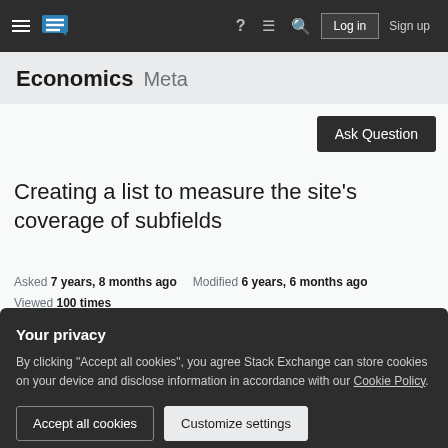Economics Meta — Stack Exchange navigation bar
Economics Meta
Creating a list to measure the site's coverage of subfields
Asked 7 years, 8 months ago   Modified 6 years, 6 months ago
Viewed 100 times
Your privacy
By clicking "Accept all cookies", you agree Stack Exchange can store cookies on your device and disclose information in accordance with our Cookie Policy.
Accept all cookies   Customize settings
the site's coverage of the various subfields of